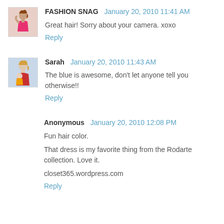[Figure (photo): Avatar of FASHION SNAG user — woman in pink dress]
FASHION SNAG  January 20, 2010 11:41 AM
Great hair! Sorry about your camera. xoxo
Reply
[Figure (photo): Avatar of Sarah user — woman with child]
Sarah  January 20, 2010 11:43 AM
The blue is awesome, don't let anyone tell you otherwise!!
Reply
Anonymous  January 20, 2010 12:08 PM
Fun hair color.
That dress is my favorite thing from the Rodarte collection. Love it.
closet365.wordpress.com
Reply